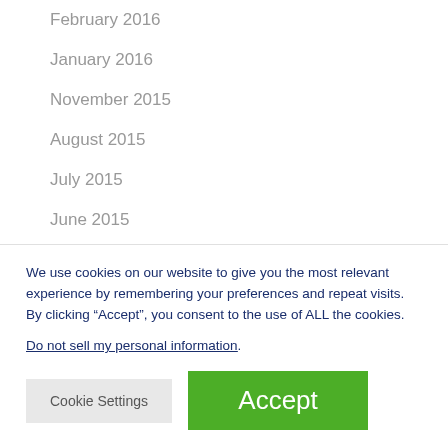February 2016
January 2016
November 2015
August 2015
July 2015
June 2015
April 2015
Categories
We use cookies on our website to give you the most relevant experience by remembering your preferences and repeat visits. By clicking “Accept”, you consent to the use of ALL the cookies.
Do not sell my personal information.